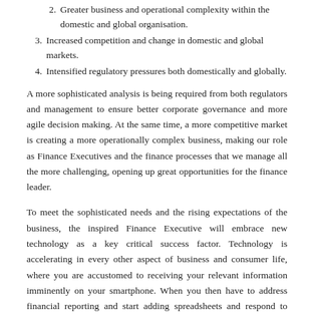2. Greater business and operational complexity within the domestic and global organisation.
3. Increased competition and change in domestic and global markets.
4. Intensified regulatory pressures both domestically and globally.
A more sophisticated analysis is being required from both regulators and management to ensure better corporate governance and more agile decision making. At the same time, a more competitive market is creating a more operationally complex business, making our role as Finance Executives and the finance processes that we manage all the more challenging, opening up great opportunities for the finance leader.
To meet the sophisticated needs and the rising expectations of the business, the inspired Finance Executive will embrace new technology as a key critical success factor. Technology is accelerating in every other aspect of business and consumer life, where you are accustomed to receiving your relevant information imminently on your smartphone. When you then have to address financial reporting and start adding spreadsheets and respond to process that take days to complete you know there is a great opportunity for the transformation of the finance teams.
The rapid advance of technology and the powerful capabilities we have